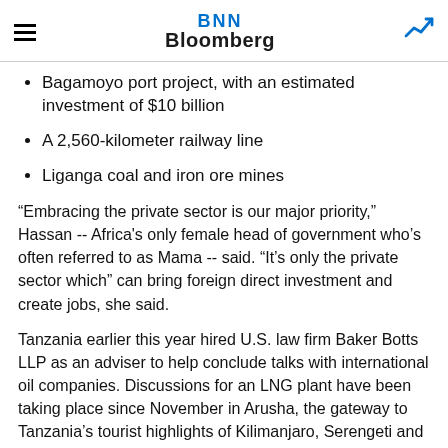BNN Bloomberg
Bagamoyo port project, with an estimated investment of $10 billion
A 2,560-kilometer railway line
Liganga coal and iron ore mines
“Embracing the private sector is our major priority,” Hassan -- Africa's only female head of government who’s often referred to as Mama -- said. “It’s only the private sector which” can bring foreign direct investment and create jobs, she said.
Tanzania earlier this year hired U.S. law firm Baker Botts LLP as an adviser to help conclude talks with international oil companies. Discussions for an LNG plant have been taking place since November in Arusha, the gateway to Tanzania’s tourist highlights of Kilimanjaro, Serengeti and the Ngorongoro Crater.
“The thing that impressed me the most is this momentum